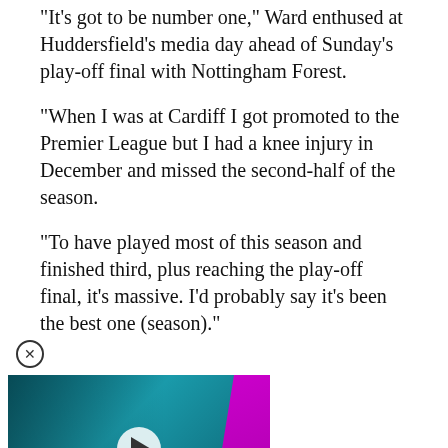“It’s got to be number one,” Ward enthused at Huddersfield’s media day ahead of Sunday’s play-off final with Nottingham Forest.
“When I was at Cardiff I got promoted to the Premier League but I had a knee injury in December and missed the second-half of the season.
“To have played most of this season and finished third, plus reaching the play-off final, it’s massive. I’d probably say it’s been the best one (season).”
[Figure (screenshot): A video thumbnail advertisement showing KSI vs Swarmz / KSI vs Pineda boxing event on 27.8.2022 from London, with a close button (X in circle) above it.]